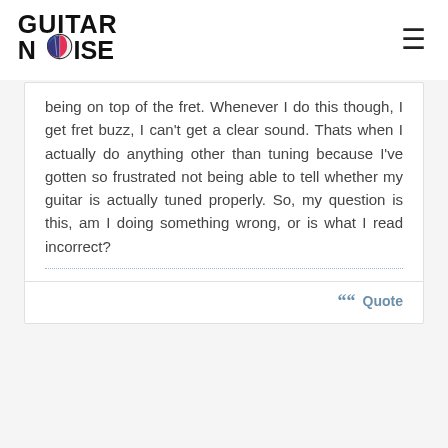Guitar Noise
being on top of the fret. Whenever I do this though, I get fret buzz, I can't get a clear sound. Thats when I actually do anything other than tuning because I've gotten so frustrated not being able to tell whether my guitar is actually tuned properly. So, my question is this, am I doing something wrong, or is what I read incorrect?
Quote